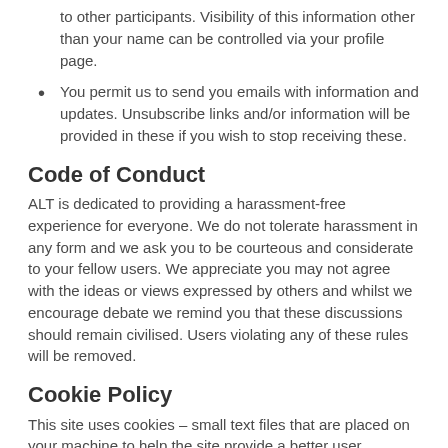to other participants. Visibility of this information other than your name can be controlled via your profile page.
You permit us to send you emails with information and updates. Unsubscribe links and/or information will be provided in these if you wish to stop receiving these.
Code of Conduct
ALT is dedicated to providing a harassment-free experience for everyone. We do not tolerate harassment in any form and we ask you to be courteous and considerate to your fellow users. We appreciate you may not agree with the ideas or views expressed by others and whilst we encourage debate we remind you that these discussions should remain civilised. Users violating any of these rules will be removed.
Cookie Policy
This site uses cookies – small text files that are placed on your machine to help the site provide a better user experience. In general, cookies are used to retain user preferences, store information and provide anonymised tracking data to third party applications like Google Analytics. A cookie by itself will only be used to improve your experience.